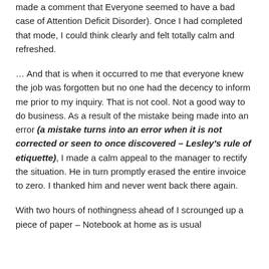made a comment that Everyone seemed to have a bad case of Attention Deficit Disorder). Once I had completed that mode, I could think clearly and felt totally calm and refreshed.
… And that is when it occurred to me that everyone knew the job was forgotten but no one had the decency to inform me prior to my inquiry. That is not cool. Not a good way to do business. As a result of the mistake being made into an error (a mistake turns into an error when it is not corrected or seen to once discovered – Lesley's rule of etiquette), I made a calm appeal to the manager to rectify the situation. He in turn promptly erased the entire invoice to zero. I thanked him and never went back there again.
With two hours of nothingness ahead of I scrounged up a piece of paper – Notebook at home as is usual